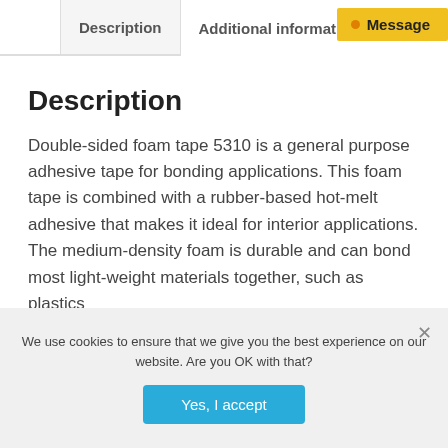Description | Additional information
Message
Description
Double-sided foam tape 5310 is a general purpose adhesive tape for bonding applications. This foam tape is combined with a rubber-based hot-melt adhesive that makes it ideal for interior applications. The medium-density foam is durable and can bond most light-weight materials together, such as plastics
We use cookies to ensure that we give you the best experience on our website. Are you OK with that?